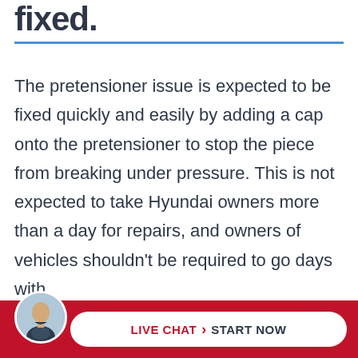fixed.
The pretensioner issue is expected to be fixed quickly and easily by adding a cap onto the pretensioner to stop the piece from breaking under pressure. This is not expected to take Hyundai owners more than a day for repairs, and owners of vehicles shouldn't be required to go days with
[Figure (other): Live chat bar at the bottom with a male attorney avatar photo, and a white pill-shaped button reading 'LIVE CHAT > START NOW' on a red background]